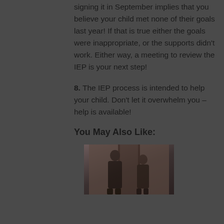signing it in September implies that you believe your child met none of their goals last year! If that is true either the goals were inappropriate, or the supports didn't work. Either way, a meeting to review the IEP is your next step!
8. The IEP process is intended to help your child. Don't let it overwhelm you – help is available!
You May Also Like:
[Figure (photo): Photo showing two people, appears to be a parent and child or two individuals in an indoor setting]